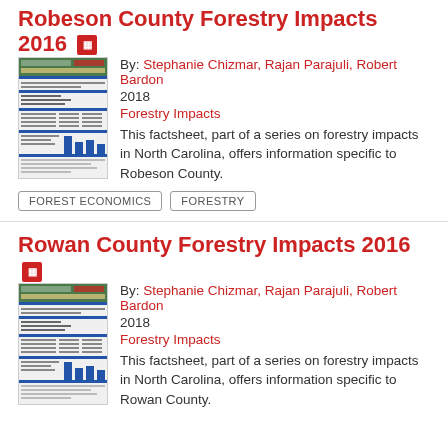Robeson County Forestry Impacts 2016
By: Stephanie Chizmar, Rajan Parajuli, Robert Bardon
2018
Forestry Impacts
This factsheet, part of a series on forestry impacts in North Carolina, offers information specific to Robeson County.
FOREST ECONOMICS
FORESTRY
Rowan County Forestry Impacts 2016
By: Stephanie Chizmar, Rajan Parajuli, Robert Bardon
2018
Forestry Impacts
This factsheet, part of a series on forestry impacts in North Carolina, offers information specific to Rowan County.